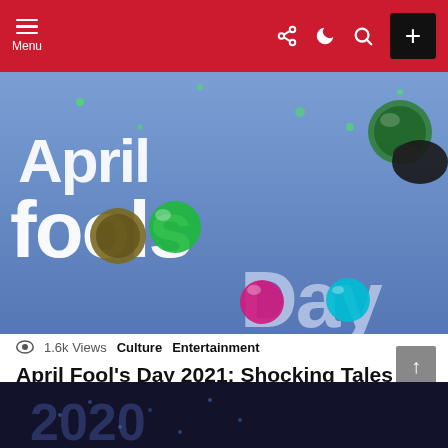Menu (navigation bar with share, dark mode, search, and + icons)
[Figure (illustration): April Fool's Day colorful 3D lettering on blue background with decorative spheres and confetti]
1.6k Views   Culture   Entertainment
April Fool's Day 2021: Shocking Tales of Its Origin!
These shocking tales behind the origin of pranks on April fool's Day will leave you amazed! MORE
by Infeagle • about a year ago
× close
READ MORE
[Figure (photo): Partial view of a dark-themed image at the bottom of the page, likely showing 2020 text]